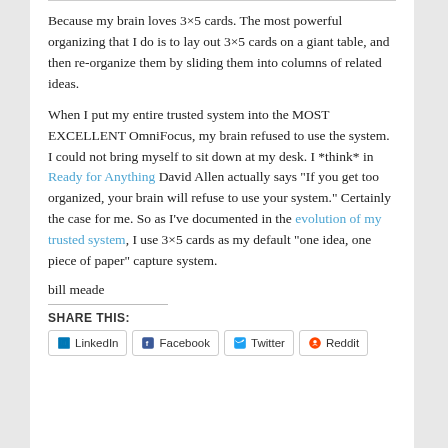Because my brain loves 3×5 cards. The most powerful organizing that I do is to lay out 3×5 cards on a giant table, and then re-organize them by sliding them into columns of related ideas.
When I put my entire trusted system into the MOST EXCELLENT OmniFocus, my brain refused to use the system. I could not bring myself to sit down at my desk. I *think* in Ready for Anything David Allen actually says “If you get too organized, your brain will refuse to use your system.” Certainly the case for me. So as I’ve documented in the evolution of my trusted system, I use 3×5 cards as my default “one idea, one piece of paper” capture system.
bill meade
SHARE THIS:
LinkedIn  Facebook  Twitter  Reddit